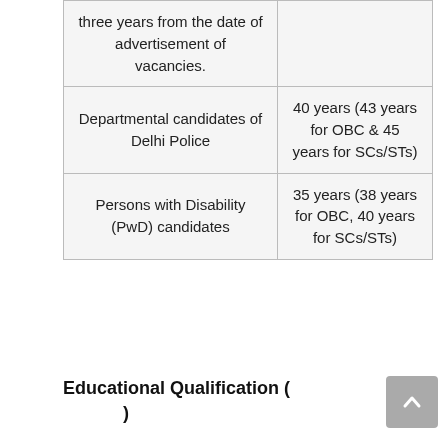| Category | Age Limit |
| --- | --- |
| three years from the date of advertisement of vacancies. |  |
| Departmental candidates of Delhi Police | 40 years (43 years for OBC & 45 years for SCs/STs) |
| Persons with Disability (PwD) candidates | 35 years (38 years for OBC, 40 years for SCs/STs) |
Educational Qualification ( )